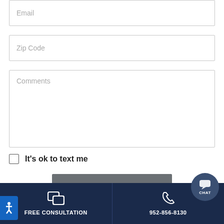Email
Zip Code
Comments
It's ok to text me
SCHEDULE NOW
FREE CONSULTATION | 952-856-8130